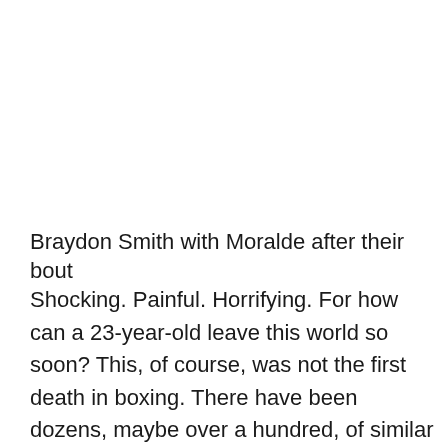Braydon Smith with Moralde after their bout
Shocking. Painful. Horrifying. For how can a 23-year-old leave this world so soon? This, of course, was not the first death in boxing. There have been dozens, maybe over a hundred, of similar cases before.